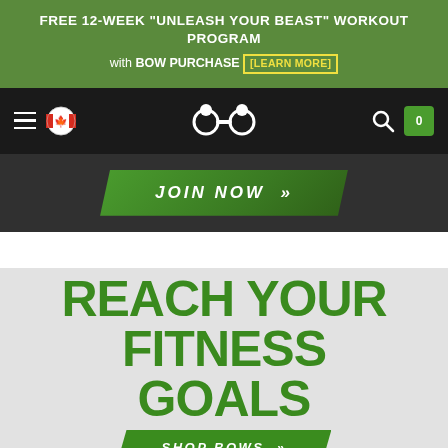FREE 12-WEEK "UNLEASH YOUR BEAST" WORKOUT PROGRAM with BOW PURCHASE [LEARN MORE]
[Figure (screenshot): Website navigation bar with hamburger menu, Canadian flag icon, fitness website logo (two circular icons), search icon, and cart button showing 0 items]
[Figure (screenshot): Green parallelogram button with text JOIN NOW >>]
REACH YOUR FITNESS GOALS
[Figure (screenshot): Green parallelogram SHOP BOWS >> button]
Whether you're a beginner or fitness junkie, you'll